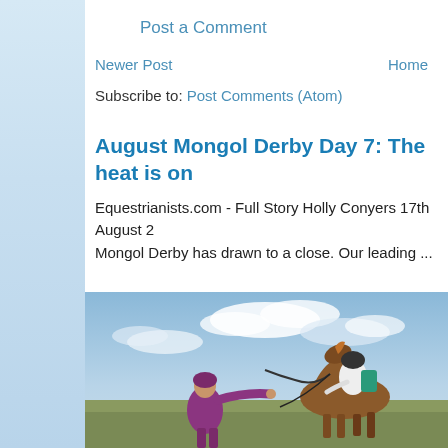Post a Comment
Newer Post
Home
Subscribe to: Post Comments (Atom)
August Mongol Derby Day 7: The heat is on
Equestrianists.com - Full Story Holly Conyers 17th August 2... Mongol Derby has drawn to a close. Our leading ...
[Figure (photo): A person on horseback wearing a helmet and green backpack, with another person in a purple jacket reaching up to hand something to the rider, in an open Mongolian steppe landscape under a partly cloudy sky.]